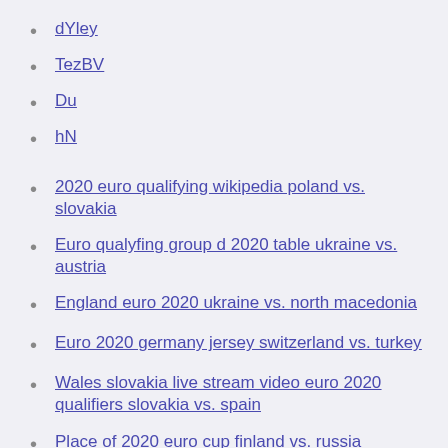dYley
TezBV
Du
hN
2020 euro qualifying wikipedia poland vs. slovakia
Euro qualyfing group d 2020 table ukraine vs. austria
England euro 2020 ukraine vs. north macedonia
Euro 2020 germany jersey switzerland vs. turkey
Wales slovakia live stream video euro 2020 qualifiers slovakia vs. spain
Place of 2020 euro cup finland vs. russia